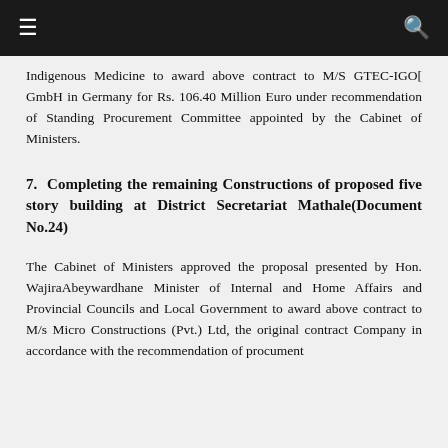Indigenous Medicine to award above contract to M/S GTEC-IGO[ GmbH in Germany for Rs. 106.40 Million Euro under recommendation of Standing Procurement Committee appointed by the Cabinet of Ministers.
7. Completing the remaining Constructions of proposed five story building at District Secretariat Mathale(Document No.24)
The Cabinet of Ministers approved the proposal presented by Hon. WajiraAbeywardhane Minister of Internal and Home Affairs and Provincial Councils and Local Government to award above contract to M/s Micro Constructions (Pvt.) Ltd, the original contract Company in accordance with the recommendation of procument